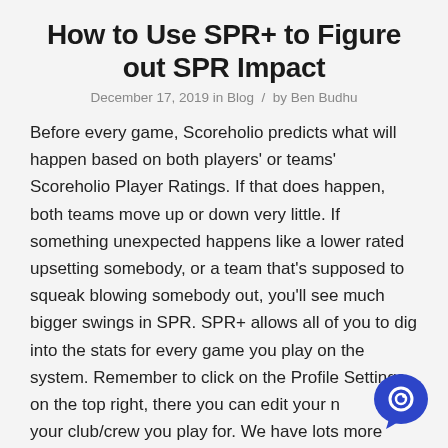How to Use SPR+ to Figure out SPR Impact
December 17, 2019 in Blog / by Ben Budhu
Before every game, Scoreholio predicts what will happen based on both players' or teams' Scoreholio Player Ratings. If that does happen, both teams move up or down very little. If something unexpected happens like a lower rated upsetting somebody, or a team that's supposed to squeak blowing somebody out, you'll see much bigger swings in SPR. SPR+ allows all of you to dig into the stats for every game you play on the system. Remember to click on the Profile Settings on the top right, there you can edit your name or your club/crew you play for. We have lots more awesome features coming soon, so stay tuned.